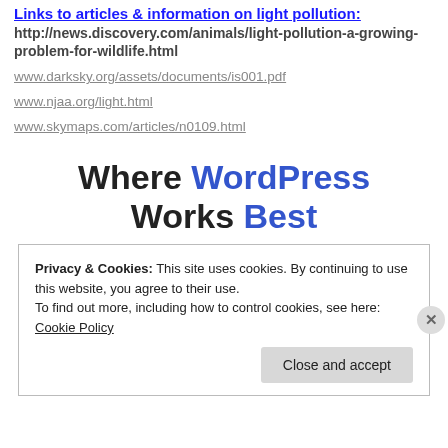Links to articles & information on light pollution:
http://news.discovery.com/animals/light-pollution-a-growing-problem-for-wildlife.html
www.darksky.org/assets/documents/is001.pdf
www.njaa.org/light.html
www.skymaps.com/articles/n0109.html
Where WordPress Works Best
Privacy & Cookies: This site uses cookies. By continuing to use this website, you agree to their use.
To find out more, including how to control cookies, see here: Cookie Policy